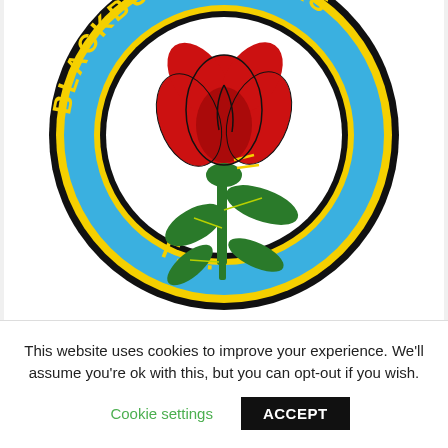[Figure (logo): Blackburn Rovers F.C. circular badge/logo. A large circle with a thick blue band containing yellow text reading 'BLACKBURN ROVERS F.C.' around the circumference, bordered by yellow rings and a black outline. The center is white with a red rose (Lancashire rose) with green stem and leaves, with yellow accent markings.]
This website uses cookies to improve your experience. We'll assume you're ok with this, but you can opt-out if you wish.
Cookie settings
ACCEPT